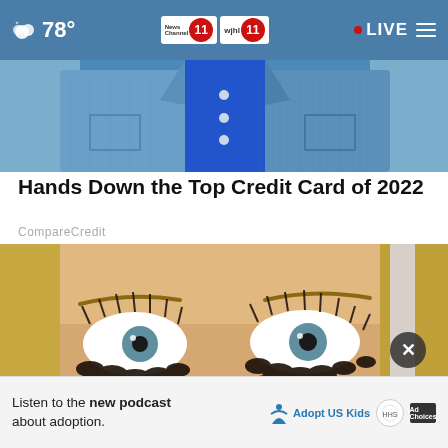78° News Channel 11 wjhl 11 • LIVE
[Figure (photo): Person wearing a blue denim jacket, cropped torso view]
Hands Down the Top Credit Card of 2022
CompareCredit
[Figure (photo): Close-up of woman's face with dramatic, chunky mascara-covered eyes, with a pink nail-polished finger applying product near eye]
Listen to the new podcast about adoption.
[Figure (logo): Adopt US Kids logo and ad choices badges]